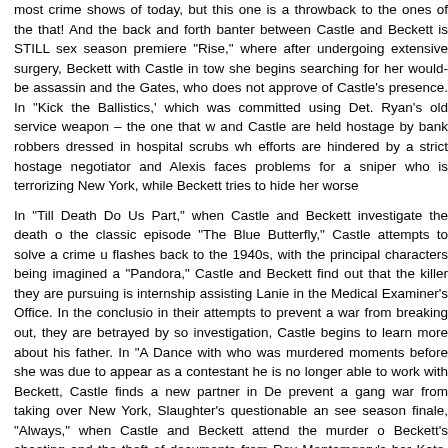most crime shows of today, but this one is a throwback to the ones of the that! And the back and forth banter between Castle and Beckett is STILL sex season premiere "Rise," where after undergoing extensive surgery, Beckett with Castle in tow she begins searching for her would-be assassin and the Gates, who does not approve of Castle's presence. In "Kick the Ballistics,' which was committed using Det. Ryan's old service weapon – the one that w and Castle are held hostage by bank robbers dressed in hospital scrubs wh efforts are hindered by a strict hostage negotiator and Alexis faces problems for a sniper who is terrorizing New York, while Beckett tries to hide her worse
In "Till Death Do Us Part," when Castle and Beckett investigate the death o the classic episode "The Blue Butterfly," Castle attempts to solve a crime u flashes back to the 1940s, with the principal characters being imagined a "Pandora," Castle and Beckett find out that the killer they are pursuing is internship assisting Lanie in the Medical Examiner's Office. In the conclusio in their attempts to prevent a war from breaking out, they are betrayed by so investigation, Castle begins to learn more about his father. In "A Dance with who was murdered moments before she was due to appear as a contestant he is no longer able to work with Beckett, Castle finds a new partner in De prevent a gang war from taking over New York, Slaughter's questionable an see season finale, "Always," when Castle and Beckett attend the murder o Beckett's shooting and the theft of documents from Roy Montomgery's hor Kate, identified as Mr. Smith, being threatened by Maddox to give up the info
The episodes run usually 42-43 minutes...unedited of course with all the grea
Disc 1
1. "Rise" 42:47
2. "Heroes & Villains" 42:40
3. "Head Case" 42:28
4. "Kick the Ballistics" 42:50